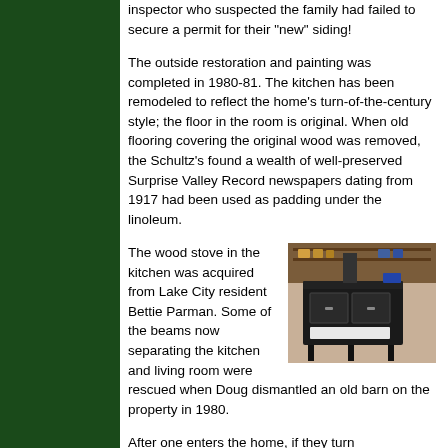inspector who suspected the family had failed to secure a permit for their "new" siding!
The outside restoration and painting was completed in 1980-81. The kitchen has been remodeled to reflect the home's turn-of-the-century style; the floor in the room is original. When old flooring covering the original wood was removed, the Schultz's found a wealth of well-preserved Surprise Valley Record newspapers dating from 1917 had been used as padding under the linoleum.
[Figure (photo): A photograph of an antique wood stove in a kitchen setting, black metal stove with white enamel accents, on legs, with items visible in the background]
The wood stove in the kitchen was acquired from Lake City resident Bettie Parman. Some of the beams now separating the kitchen and living room were rescued when Doug dismantled an old barn on the property in 1980.
After one enters the home, if they turn